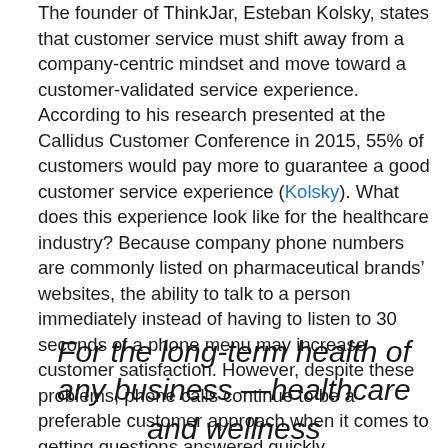The founder of ThinkJar, Esteban Kolsky, states that customer service must shift away from a company-centric mindset and move toward a customer-validated service experience. According to his research presented at the Callidus Customer Conference in 2015, 55% of customers would pay more to guarantee a good customer service experience (Kolsky). What does this experience look like for the healthcare industry? Because company phone numbers are commonly listed on pharmaceutical brands’ websites, the ability to talk to a person immediately instead of having to listen to 30 seconds of a phone menu may increase customer satisfaction. However, despite these problems, phone calls continue to be a preferable customer approach when it comes to getting questions answered quickly.
For the long-term health of any business —healthcare and wellness